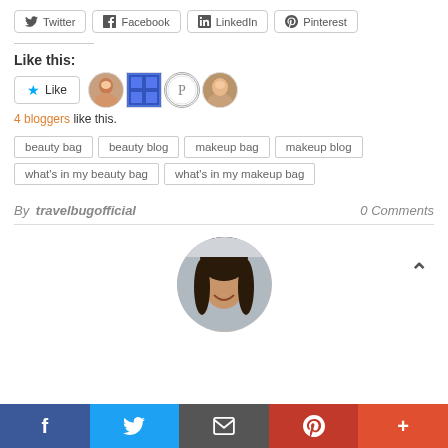[Figure (infographic): Social share buttons: Twitter, Facebook, LinkedIn, Pinterest]
Like this:
[Figure (infographic): Like button with star icon and 4 blogger avatars. Text: 4 bloggers like this.]
beauty bag
beauty blog
makeup bag
makeup blog
what's in my beauty bag
what's in my makeup bag
By travelbugofficial    0 Comments
[Figure (photo): Circular profile photo of a smiling woman with dark hair]
[Figure (infographic): Bottom social share bar: Facebook (blue), Twitter (light blue), Email (gray), Pinterest (red), Plus (orange-red)]